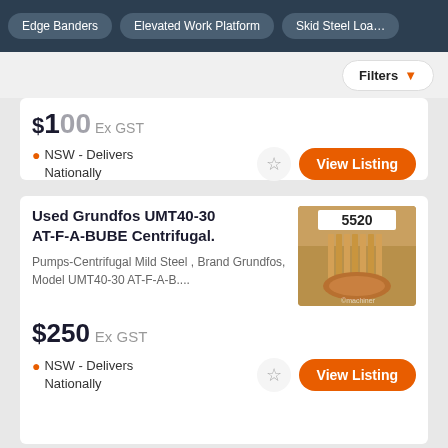Edge Banders | Elevated Work Platform | Skid Steel Loa...
Filters
$100 Ex GST
NSW - Delivers Nationally
View Listing
Used Grundfos UMT40-30 AT-F-A-BUBE Centrifugal.
Pumps-Centrifugal Mild Steel , Brand Grundfos, Model UMT40-30 AT-F-A-B....
[Figure (photo): Photo of a Grundfos centrifugal pump, brownish/copper coloured, with a white label showing '5520']
$250 Ex GST
NSW - Delivers Nationally
View Listing